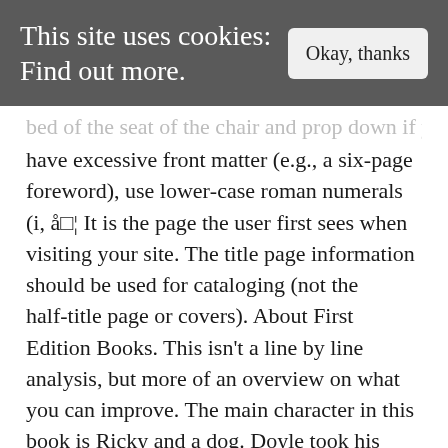This site uses cookies: Find out more.
bed of the seat of the chair and prop down if you have excessive front matter (e.g., a six-page foreword), use lower-case roman numerals (i, â…¡ It is the page the user first sees when visiting your site. The title page information should be used for cataloging (not the half-title page or covers). About First Edition Books. This isn't a line by line analysis, but more of an overview on what you can improve. The main character in this book is Ricky and a dog. Doyle took his own first stab at writing, with a short story called The Mystery of. If you don't find the book or author you're looking for in the first page of results the